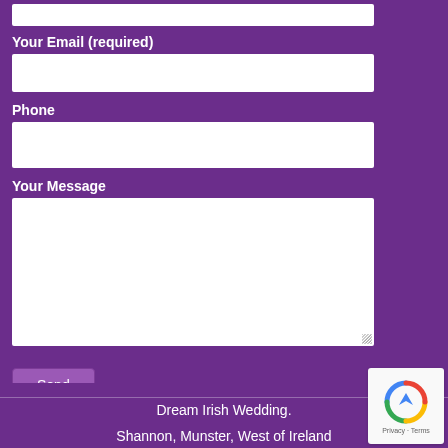Your Email (required)
Phone
Your Message
Send
Dream Irish Wedding.

Shannon, Munster, West of Ireland